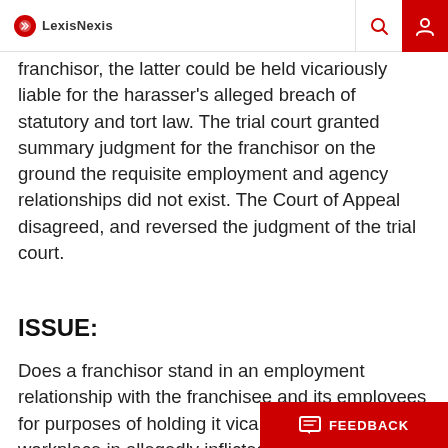LexisNexis
franchisor, the latter could be held vicariously liable for the harasser's alleged breach of statutory and tort law. The trial court granted summary judgment for the franchisor on the ground the requisite employment and agency relationships did not exist. The Court of Appeal disagreed, and reversed the judgment of the trial court.
ISSUE:
Does a franchisor stand in an employment relationship with the franchisee and its employees for purposes of holding it vicariously liable for workplace in... allegedly inflicted by one emplo...